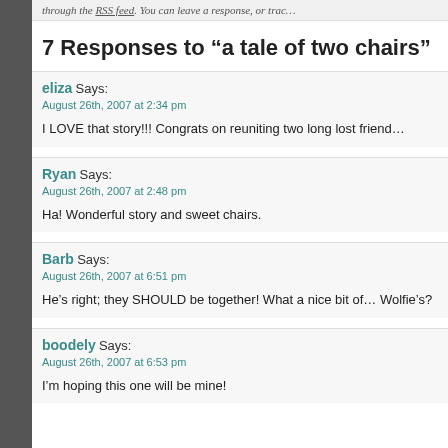through the RSS feed. You can leave a response, or trac…
7 Responses to “a tale of two chairs”
eliza Says:
August 26th, 2007 at 2:34 pm
I LOVE that story!!! Congrats on reuniting two long lost friend…
Ryan Says:
August 26th, 2007 at 2:48 pm
Ha! Wonderful story and sweet chairs.
Barb Says:
August 26th, 2007 at 6:51 pm
He’s right; they SHOULD be together! What a nice bit of… Wolfie’s?
boodely Says:
August 26th, 2007 at 6:53 pm
I’m hoping this one will be mine!